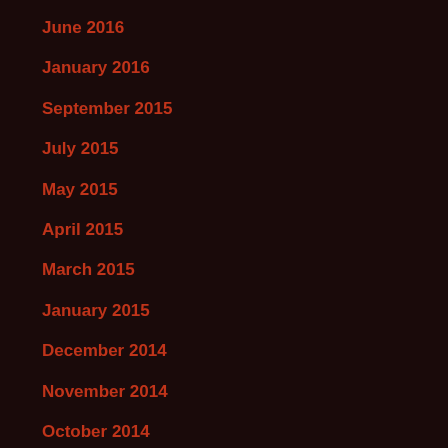June 2016
January 2016
September 2015
July 2015
May 2015
April 2015
March 2015
January 2015
December 2014
November 2014
October 2014
September 2014
August 2014
July 2014
June 2014